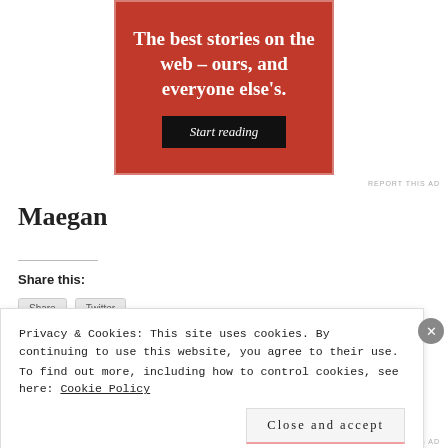[Figure (other): Red advertisement banner with white text reading 'The best stories on the web – ours, and everyone else's.' and a black 'Start reading' button]
REPORT THIS AD
Maegan
Share this:
Privacy & Cookies: This site uses cookies. By continuing to use this website, you agree to their use. To find out more, including how to control cookies, see here: Cookie Policy
Close and accept
[Figure (other): Green advertisement bar at the bottom of the page]
REPORT THIS AD